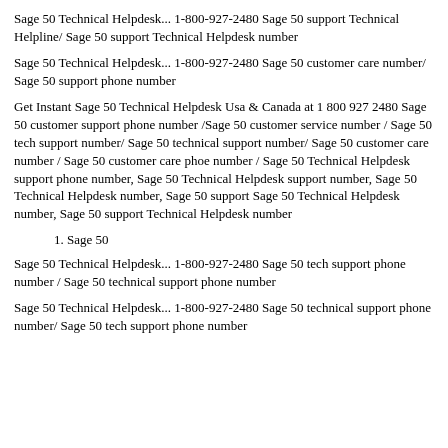Sage 50 Technical Helpdesk... 1-800-927-2480 Sage 50 support Technical Helpline/ Sage 50 support Technical Helpdesk number
Sage 50 Technical Helpdesk... 1-800-927-2480 Sage 50 customer care number/ Sage 50 support phone number
Get Instant Sage 50 Technical Helpdesk Usa & Canada at 1 800 927 2480 Sage 50 customer support phone number /Sage 50 customer service number / Sage 50 tech support number/ Sage 50 technical support number/ Sage 50 customer care number / Sage 50 customer care phoe number / Sage 50 Technical Helpdesk support phone number, Sage 50 Technical Helpdesk support number, Sage 50 Technical Helpdesk number, Sage 50 support Sage 50 Technical Helpdesk number, Sage 50 support Technical Helpdesk number
1. Sage 50
Sage 50 Technical Helpdesk... 1-800-927-2480 Sage 50 tech support phone number / Sage 50 technical support phone number
Sage 50 Technical Helpdesk... 1-800-927-2480 Sage 50 technical support phone number/ Sage 50 tech support phone number